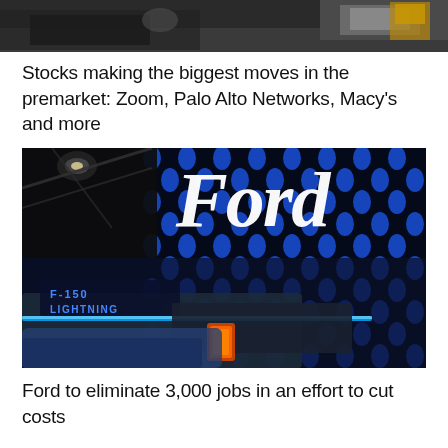[Figure (photo): Partial top image of a news article, cropped showing desk/computer items]
Stocks making the biggest moves in the premarket: Zoom, Palo Alto Networks, Macy’s and more
[Figure (photo): Ford F-150 Lightning electric truck at a display event, showing illuminated Ford logo on blue dot-pattern background with F-150 Lightning badge on the truck]
Ford to eliminate 3,000 jobs in an effort to cut costs